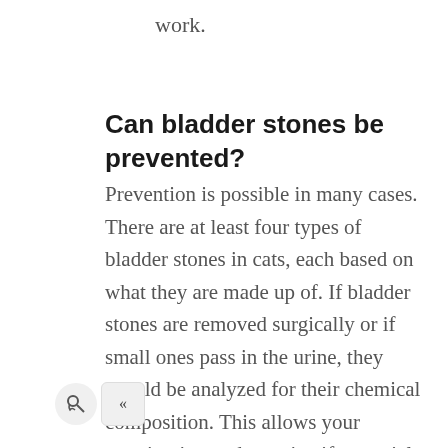work.
Can bladder stones be prevented?
Prevention is possible in many cases. There are at least four types of bladder stones in cats, each based on what they are made up of. If bladder stones are removed surgically or if small ones pass in the urine, they should be analyzed for their chemical composition. This allows your veterinarian to determine if a special diet or medication is appropriate. Regular checks of urine samples, or ultrasound examination of the bladder are helpful in all cases to detect early return of the problem and allow adjustments in diet